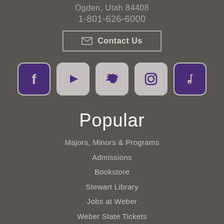Ogden, Utah 84408
1-801-626-6000
Contact Us
[Figure (other): Social media icons: Facebook, YouTube, Twitter, Instagram, TikTok]
Popular
Majors, Minors & Programs
Admissions
Bookstore
Stewart Library
Jobs at Weber
Weber State Tickets
eWeber
Directories